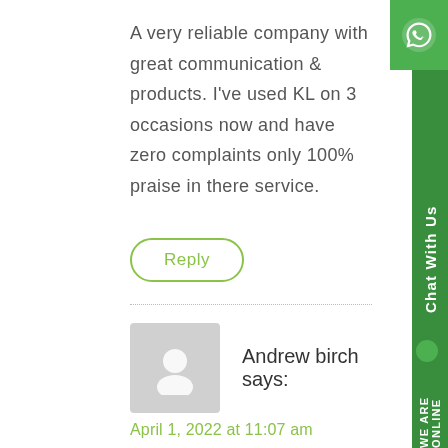A very reliable company with great communication & products. I've used KL on 3 occasions now and have zero complaints only 100% praise in there service.
Reply
Andrew birch says:
April 1, 2022 at 11:07 am
Came very quick, perfect customer service , did exactly what it's suppose to will use again highly recommend . also